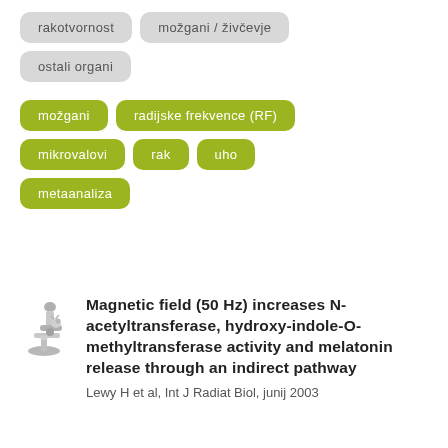rakotvornost
možgani / živčevje
ostali organi
možgani
radijske frekvence (RF)
mikrovalovi
rak
uho
metaanaliza
[Figure (illustration): Microscope icon in gray]
Magnetic field (50 Hz) increases N-acetyltransferase, hydroxy-indole-O-methyltransferase activity and melatonin release through an indirect pathway
Lewy H et al, Int J Radiat Biol, junij 2003